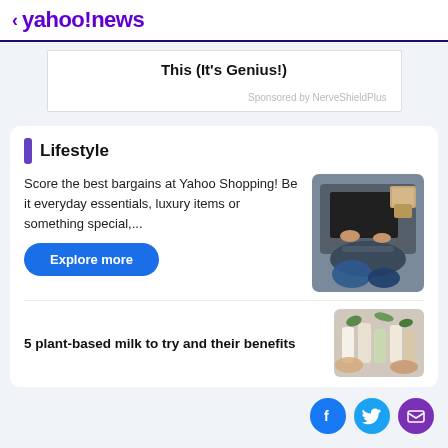< yahoo!news
This (It's Genius!)
Sponsored by NerveShieldPlus
Lifestyle
Score the best bargains at Yahoo Shopping! Be it everyday essentials, luxury items or something special,...
Explore more
[Figure (photo): Overhead view of person sitting on floor using laptop with packages nearby]
5 plant-based milk to try and their benefits
[Figure (photo): Overhead view of plant-based milk bottles and plants]